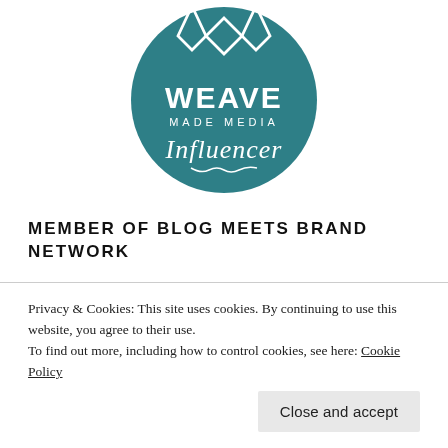[Figure (logo): Weave Made Media Influencer circular logo — teal circle with white geometric W mark at top, 'WEAVE' in large white letters, 'MADE MEDIA' in small white spaced caps, and 'Influencer' in white script font below]
MEMBER OF BLOG MEETS BRAND NETWORK
[Figure (logo): Blog Meets Brand network logo — green triangle/mountain shape partially visible]
Privacy & Cookies: This site uses cookies. By continuing to use this website, you agree to their use.
To find out more, including how to control cookies, see here: Cookie Policy
Close and accept